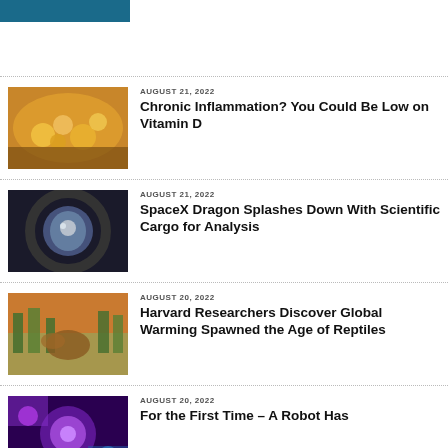[Figure (other): Blue header banner/logo block]
AUGUST 21, 2022
Chronic Inflammation? You Could Be Low on Vitamin D
AUGUST 21, 2022
SpaceX Dragon Splashes Down With Scientific Cargo for Analysis
AUGUST 20, 2022
Harvard Researchers Discover Global Warming Spawned the Age of Reptiles
AUGUST 20, 2022
For the First Time – A Robot Has...